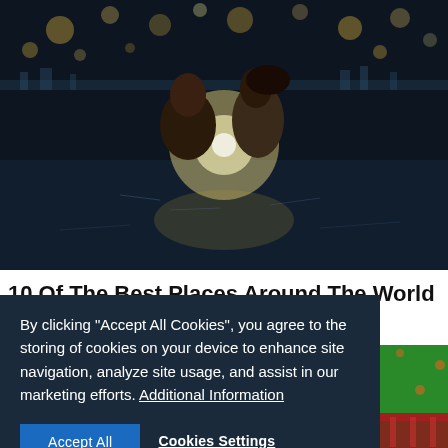[Figure (photo): Couple facing each other closely near water at night with bokeh lights in background]
10 Of The Best Places Around The World To Go Stargazing
[Figure (screenshot): Cookie consent banner overlay with Accept All and Cookies Settings buttons. Text: By clicking "Accept All Cookies", you agree to the storing of cookies on your device to enhance site navigation, analyze site usage, and assist in our marketing efforts. Additional Information]
[Figure (illustration): Animated cartoon scene showing Princess Jasmine and Aladdin on a balcony with a green decorative background with orange diamond shapes]